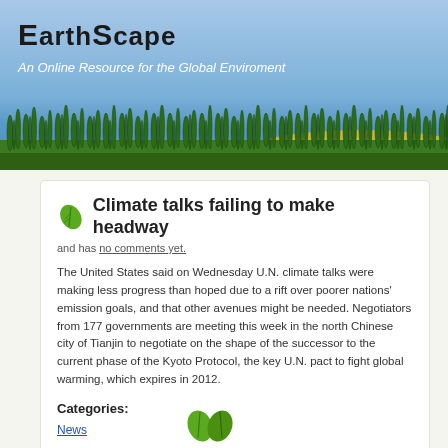EarthScape — An Online Resource for the Global Enviroment
Climate talks failing to make headway
and has no comments yet.
The United States said on Wednesday U.N. climate talks were making less progress than hoped due to a rift over poorer nations' emission goals, and that other avenues might be needed. Negotiators from 177 governments are meeting this week in the north Chinese city of Tianjin to negotiate on the shape of the successor to the current phase of the Kyoto Protocol, the key U.N. pact to fight global warming, which expires in 2012.
Categories: News